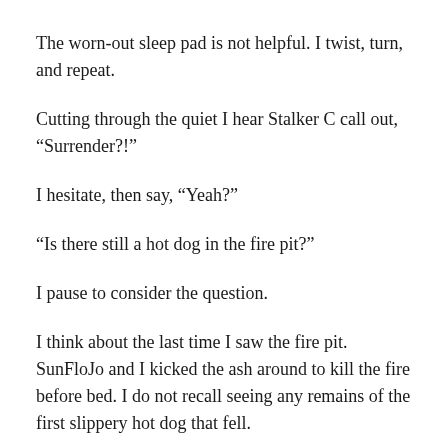The worn-out sleep pad is not helpful. I twist, turn, and repeat.
Cutting through the quiet I hear Stalker C call out, “Surrender?!”
I hesitate, then say, “Yeah?”
“Is there still a hot dog in the fire pit?”
I pause to consider the question.
I think about the last time I saw the fire pit. SunFloJo and I kicked the ash around to kill the fire before bed. I do not recall seeing any remains of the first slippery hot dog that fell.